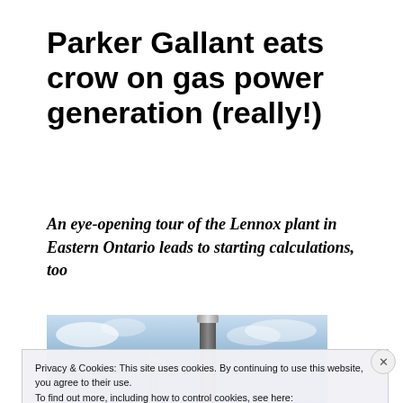Parker Gallant eats crow on gas power generation (really!)
An eye-opening tour of the Lennox plant in Eastern Ontario leads to starting calculations, too
[Figure (photo): Industrial chimney stack against a blue sky with clouds — the Lennox generating plant]
Privacy & Cookies: This site uses cookies. By continuing to use this website, you agree to their use.
To find out more, including how to control cookies, see here:
Cookie Policy
Close and accept